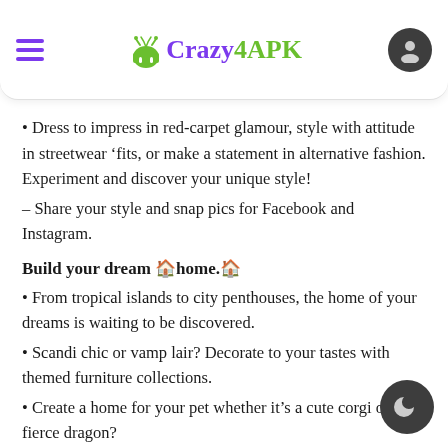Crazy4APK
Dress to impress in red-carpet glamour, style with attitude in streetwear 'fits, or make a statement in alternative fashion. Experiment and discover your unique style!
– Share your style and snap pics for Facebook and Instagram.
Build your dream 🏠home.🏠
From tropical islands to city penthouses, the home of your dreams is waiting to be discovered.
Scandi chic or vamp lair? Decorate to your tastes with themed furniture collections.
Create a home for your pet whether it's a cute corgi or fierce dragon?
Host parties with all your friends or create the perfect night in. Your place, your rules!